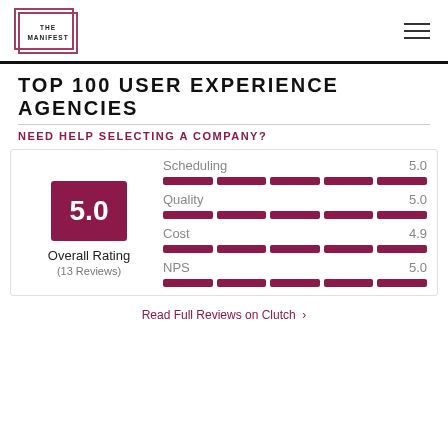THE MANIFEST
TOP 100 USER EXPERIENCE AGENCIES
NEED HELP SELECTING A COMPANY?
[Figure (infographic): Rating widget showing overall score 5.0 with 13 Reviews, and sub-ratings: Scheduling 5.0, Quality 5.0, Cost 4.9, NPS 5.0. Each sub-rating shown with 5 filled bar segments.]
Read Full Reviews on Clutch >